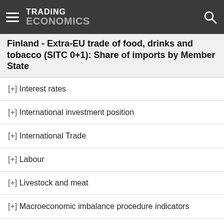TRADING ECONOMICS
Finland - Extra-EU trade of food, drinks and tobacco (SITC 0+1): Share of imports by Member State
[+] Interest rates
[+] International investment position
[+] International Trade
[+] Labour
[+] Livestock and meat
[+] Macroeconomic imbalance procedure indicators
[+] National Accounts
[+] Peace, justice and strong institutions
[+] Population